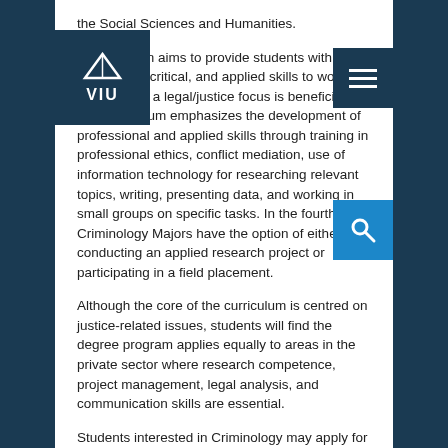the Social Sciences and Humanities.
The program aims to provide students with conceptual, critical, and applied skills to work in fields where a legal/justice focus is beneficial. The curriculum emphasizes the development of professional and applied skills through training in professional ethics, conflict mediation, use of information technology for researching relevant topics, writing, presenting data, and working in small groups on specific tasks. In the fourth year, Criminology Majors have the option of either conducting an applied research project or participating in a field placement.
Although the core of the curriculum is centred on justice-related issues, students will find the degree program applies equally to areas in the private sector where research competence, project management, legal analysis, and communication skills are essential.
Students interested in Criminology may apply for